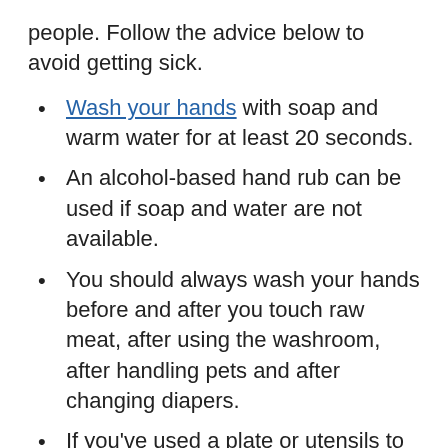people. Follow the advice below to avoid getting sick.
Wash your hands with soap and warm water for at least 20 seconds.
An alcohol-based hand rub can be used if soap and water are not available.
You should always wash your hands before and after you touch raw meat, after using the washroom, after handling pets and after changing diapers.
If you've used a plate or utensils to handle raw food, don't use them again